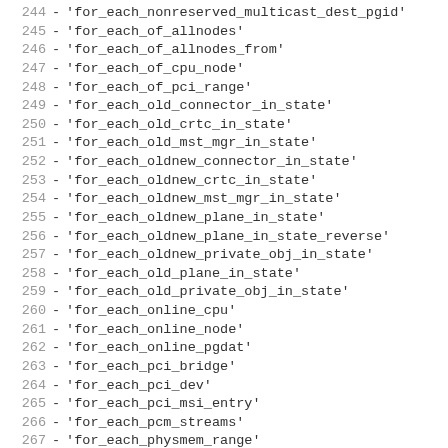244 - 'for_each_nonreserved_multicast_dest_pgid'
245 - 'for_each_of_allnodes'
246 - 'for_each_of_allnodes_from'
247 - 'for_each_of_cpu_node'
248 - 'for_each_of_pci_range'
249 - 'for_each_old_connector_in_state'
250 - 'for_each_old_crtc_in_state'
251 - 'for_each_old_mst_mgr_in_state'
252 - 'for_each_oldnew_connector_in_state'
253 - 'for_each_oldnew_crtc_in_state'
254 - 'for_each_oldnew_mst_mgr_in_state'
255 - 'for_each_oldnew_plane_in_state'
256 - 'for_each_oldnew_plane_in_state_reverse'
257 - 'for_each_oldnew_private_obj_in_state'
258 - 'for_each_old_plane_in_state'
259 - 'for_each_old_private_obj_in_state'
260 - 'for_each_online_cpu'
261 - 'for_each_online_node'
262 - 'for_each_online_pgdat'
263 - 'for_each_pci_bridge'
264 - 'for_each_pci_dev'
265 - 'for_each_pci_msi_entry'
266 - 'for_each_pcm_streams'
267 - 'for_each_physmem_range'
268 - 'for_each_populated_zone'
269 - 'for_each_possible_cpu'
270 - 'for_each_present_cpu'
271 - 'for_each_prime_number'
272 - 'for_each_prime_number_from'
273 - 'for_each_process'
274 - 'for_each_process_thread'
275 - 'for_each_prop_codec_conf'